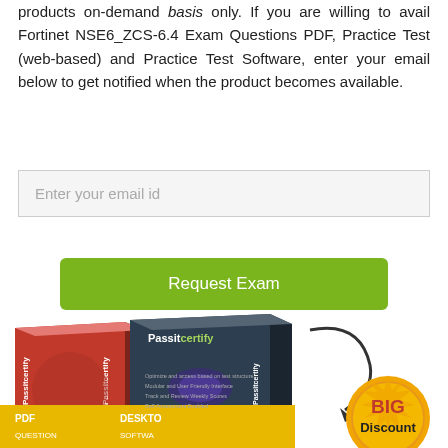products on-demand basis only. If you are willing to avail Fortinet NSE6_ZCS-6.4 Exam Questions PDF, Practice Test (web-based) and Practice Test Software, enter your email below to get notified when the product becomes available.
Enter your email id
Request Exam
[Figure (illustration): Two Passitcertify product boxes (red and dark/charcoal), with a curved arrow, gold banner, and a BIG Discount badge. Bottom shows PDF and software product labels.]